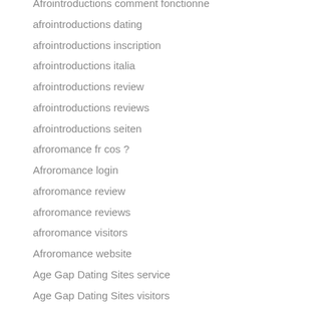Afrointroductions comment fonctionne
afrointroductions dating
afrointroductions inscription
afrointroductions italia
afrointroductions review
afrointroductions reviews
afrointroductions seiten
afroromance fr cos ?
Afroromance login
afroromance review
afroromance reviews
afroromance visitors
Afroromance website
Age Gap Dating Sites service
Age Gap Dating Sites visitors